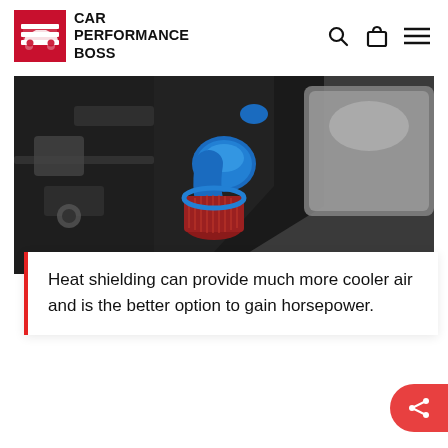CAR PERFORMANCE BOSS
[Figure (photo): Close-up of a car engine bay showing a blue cold air intake pipe with a red conical performance air filter, surrounded by engine components and a silver coolant reservoir.]
Heat shielding can provide much more cooler air and is the better option to gain horsepower.